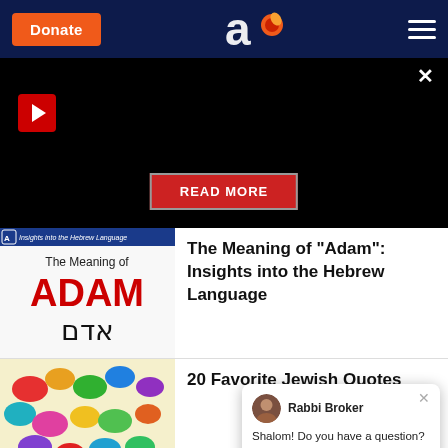Donate | Aish logo | Menu
[Figure (screenshot): Dark banner with play button, close X, and READ MORE button]
[Figure (illustration): Thumbnail showing 'The Meaning of ADAM' with Hebrew letters, insights into the Hebrew Language]
The Meaning of "Adam": Insights into the Hebrew Language
[Figure (illustration): Colorful speech bubbles over Hebrew text background]
20 Favorite Jewish Quotes
Shalom! Do you have a question? I'm online now. Ask me here!
Rabbi Broker